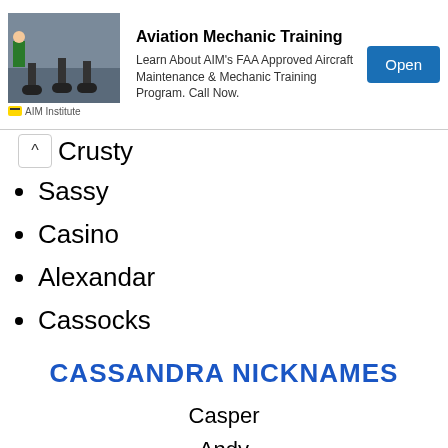[Figure (photo): Advertisement banner for AIM Institute Aviation Mechanic Training. Shows a photo of aircraft landing gear/mechanic, text about FAA Approved Aircraft Maintenance & Mechanic Training Program, and an Open button.]
Crusty
Sassy
Casino
Alexandar
Cassocks
CASSANDRA NICKNAMES
Casper
Andy
Suzie
Caramel
Sandy Bear
Candy
Cassaboo